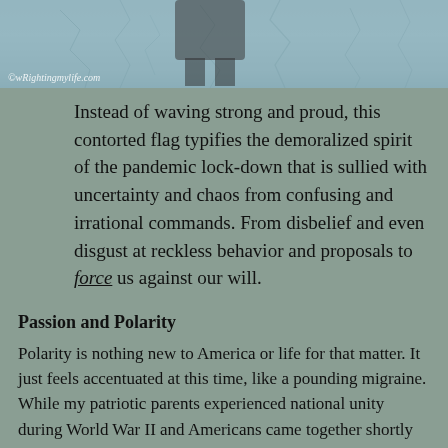[Figure (photo): Partial photo of a person holding or near a crinkled/contorted flag, with a light blue crackled surface visible. Watermark reads ©wRightingmylife.com]
Instead of waving strong and proud, this contorted flag typifies the demoralized spirit of the pandemic lock-down that is sullied with uncertainty and chaos from confusing and irrational commands. From disbelief and even disgust at reckless behavior and proposals to force us against our will.
Passion and Polarity
Polarity is nothing new to America or life for that matter. It just feels accentuated at this time, like a pounding migraine. While my patriotic parents experienced national unity during World War II and Americans came together shortly after 9/11, most Boomers will remember the Kent State protests and abominable vilification of Vietnam War vets